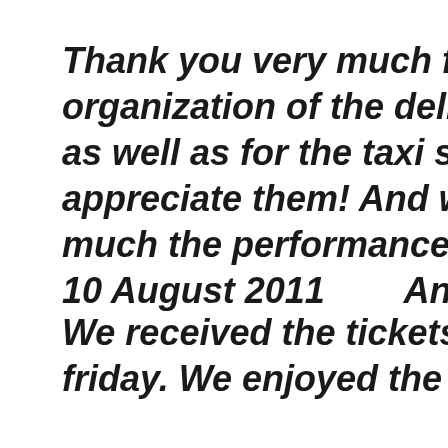Thank you very much for the fine organization of the delivery of the tickets, as well as for the taxi service. We very much appreciate them! And we also enjoyed very much the performances.
10 August 2011        Anna-Liisa...
We received the tickets in the hotel on friday. We enjoyed the ballet an...